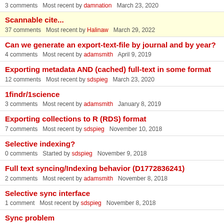3 comments   Most recent by damnation   March 23, 2020
Scannable cite...
37 comments   Most recent by Halinaw   March 29, 2022
Can we generate an export-text-file by journal and by year?
4 comments   Most recent by adamsmith   April 9, 2019
Exporting metadata AND (cached) full-text in some format
12 comments   Most recent by sdspieg   March 23, 2020
1findr/1science
3 comments   Most recent by adamsmith   January 8, 2019
Exporting collections to R (RDS) format
7 comments   Most recent by sdspieg   November 10, 2018
Selective indexing?
0 comments   Started by sdspieg   November 9, 2018
Full text syncing/Indexing behavior (D1772836241)
2 comments   Most recent by adamsmith   November 8, 2018
Selective sync interface
1 comment   Most recent by sdspieg   November 8, 2018
Sync problem
8 comments   Most recent by dstillman   October 25, 2018